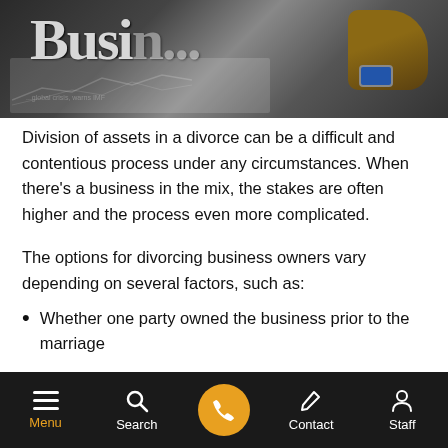[Figure (photo): Partial view of a business newspaper with a hand wearing a watch pointing at it, dark background]
Division of assets in a divorce can be a difficult and contentious process under any circumstances. When there's a business in the mix, the stakes are often higher and the process even more complicated.
The options for divorcing business owners vary depending on several factors, such as:
Whether one party owned the business prior to the marriage
How the business is structured and owned
Whether there are outside owners of the business
Menu  Search  [Call]  Contact  Staff